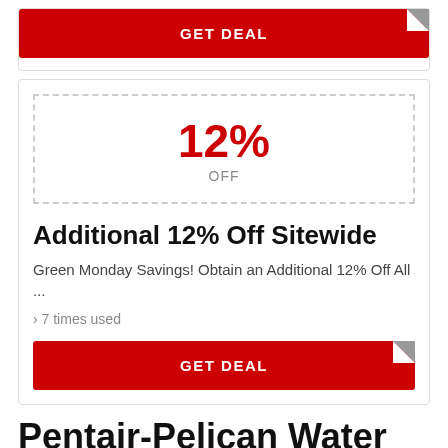GET DEAL
12% OFF
Additional 12% Off Sitewide
Green Monday Savings! Obtain an Additional 12% Off All ...
› 7 times used
GET DEAL
Pentair-Pelican Water